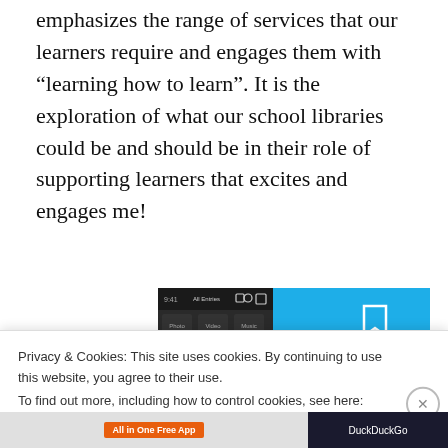emphasizes the range of services that our learners require and engages them with "learning how to learn". It is the exploration of what our school libraries could be and should be in their role of supporting learners that excites and engages me!
[Figure (screenshot): DayOne app promotional image showing a smartphone with photo journal interface on the left and a blue background with 'DAY ONE - Your Journal for life' branding on the right]
Privacy & Cookies: This site uses cookies. By continuing to use this website, you agree to their use.
To find out more, including how to control cookies, see here: Cookie Policy